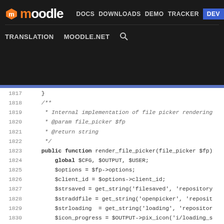moodle | DOCS | DOWNLOADS | DEMO | TRACKER | DEV | TRANSLATION | MOODLE.NET
[Figure (screenshot): Moodle developer documentation website navigation header with black background, showing logo, nav links (DOCS, DOWNLOADS, DEMO, TRACKER, DEV highlighted in blue), and secondary links (TRANSLATION, MOODLE.NET, search icon)]
PHP source code viewer showing lines 1817-1842 of render_file_picker function implementation
1817    }
1818    /**
1819     * Internal implementation of file picker rendering
1820     * @param file_picker $fp
1821     * @return string
1822     */
1823    public function render_file_picker(file_picker $fp)
1824        global $CFG, $OUTPUT, $USER;
1825        $options = $fp->options;
1826        $client_id = $options->client_id;
1827        $strsaved = get_string('filesaved', 'repository'
1828        $straddfile = get_string('openpicker', 'reposit
1829        $strloading  = get_string('loading', 'repositor
1830        $icon_progress = $OUTPUT->pix_icon('i/loading_s
1831
1832        $currentfile = $options->currentfile;
1833        if (empty($currentfile)) {
1834            $currentfile = get_string('nofilesattached'
1835        }
1836        $html = <<<EOD
1837 <div class="filemanager-loading mdl-align" id='filepick
1838 $icon_progress
1839 </div>
1840 <div id="filepicker-wrapper-{$client_id}" class="mdl-le
1841     <div>
1842     <button id="filepicker-button-{$client_id}">$st